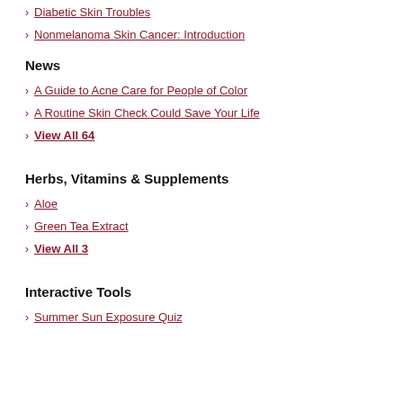Diabetic Skin Troubles
Nonmelanoma Skin Cancer: Introduction
News
A Guide to Acne Care for People of Color
A Routine Skin Check Could Save Your Life
View All 64
Herbs, Vitamins & Supplements
Aloe
Green Tea Extract
View All 3
Interactive Tools
Summer Sun Exposure Quiz